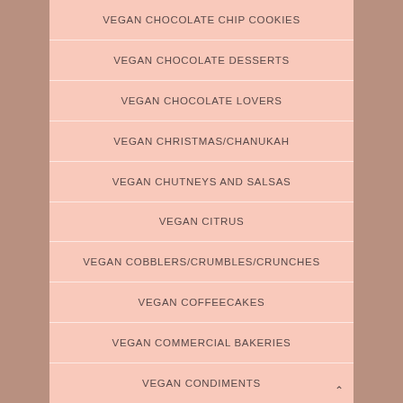VEGAN CHOCOLATE CHIP COOKIES
VEGAN CHOCOLATE DESSERTS
VEGAN CHOCOLATE LOVERS
VEGAN CHRISTMAS/CHANUKAH
VEGAN CHUTNEYS AND SALSAS
VEGAN CITRUS
VEGAN COBBLERS/CRUMBLES/CRUNCHES
VEGAN COFFEECAKES
VEGAN COMMERCIAL BAKERIES
VEGAN CONDIMENTS